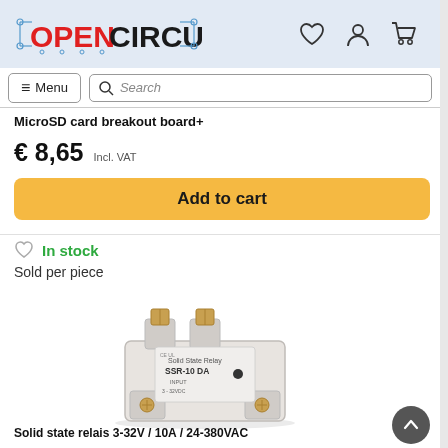OPENCIRCUIT
Menu  Search
MicroSD card breakout board+
€ 8,65  Incl. VAT
Add to cart
In stock
Sold per piece
[Figure (photo): Solid state relay module SSR-10 DA, white rectangular component with terminal blocks]
Solid state relais 3-32V / 10A / 24-380VAC